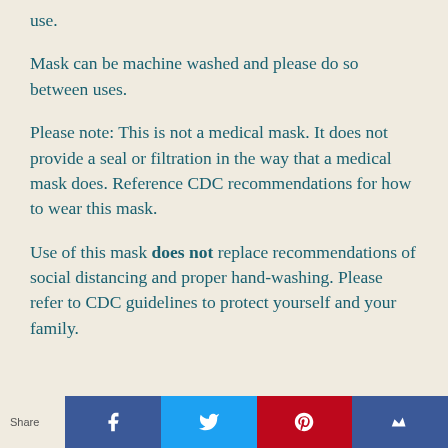use.
Mask can be machine washed and please do so between uses.
Please note: This is not a medical mask. It does not provide a seal or filtration in the way that a medical mask does. Reference CDC recommendations for how to wear this mask.
Use of this mask does not replace recommendations of social distancing and proper hand-washing. Please refer to CDC guidelines to protect yourself and your family.
Share [Facebook] [Twitter] [Pinterest] [Other]